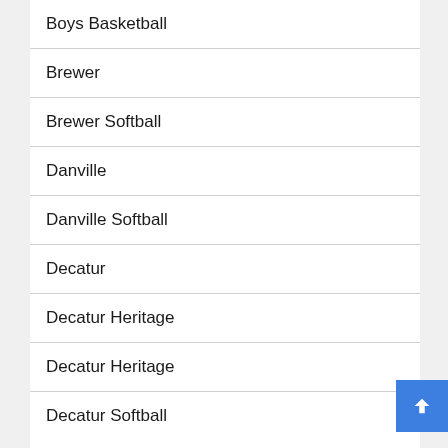Boys Basketball
Brewer
Brewer Softball
Danville
Danville Softball
Decatur
Decatur Heritage
Decatur Heritage
Decatur Softball